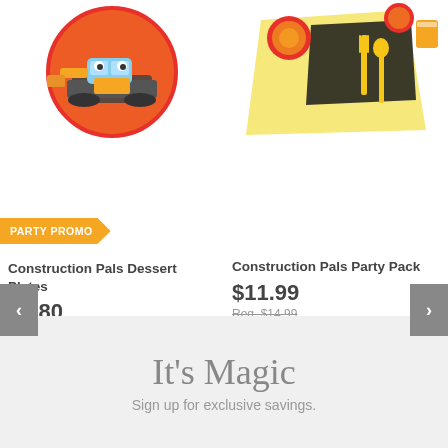[Figure (illustration): Construction Pals dessert plate with cartoon bulldozer on red circular plate]
PARTY PROMO
Construction Pals Dessert Plates
$0.80
Reg. $1.00
20% Off Sitewide with code: birthyay
Add to Cart
[Figure (illustration): Construction Pals party pack with plates, napkins, yellow utensils on yellow napkin]
Construction Pals Party Pack
$11.99
Reg. $14.99
20% Off Sitewide with code: birthyay
(3)
Add to Cart
It's Magic
Sign up for exclusive savings.